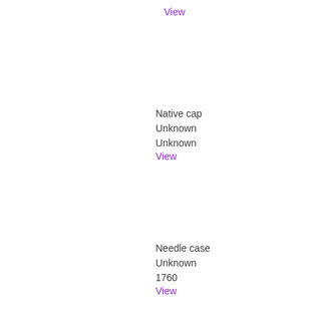View
Native cap
Unknown
Unknown
View
Needle case
Unknown
1760
View